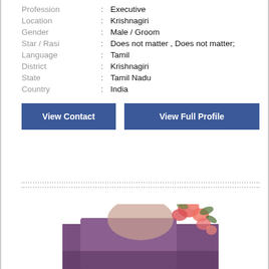Profession : Executive
Location : Krishnagiri
Gender : Male / Groom
Star / Rasi : Does not matter , Does not matter;
Language : Tamil
District : Krishnagiri
State : Tamil Nadu
Country : India
View Contact
View Full Profile
[Figure (photo): Partially visible blurred photo of a person with floral decoration, showing top of head and flowers at bottom of page]